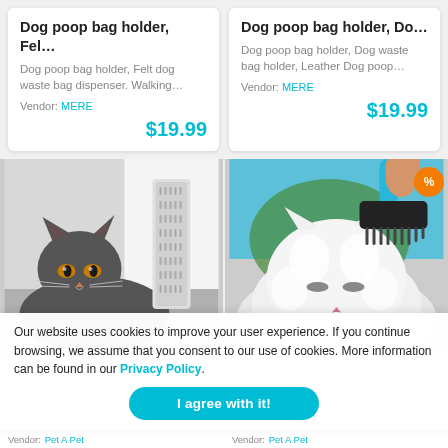[Figure (screenshot): Product card: Dog poop bag holder, Fel... - Vendor: MERE - $19.99]
[Figure (screenshot): Product card: Dog poop bag holder, Do... - Vendor: MERE - $19.99]
[Figure (photo): Gray cat sitting next to a gray self-grooming brush against a white wall]
[Figure (photo): White fluffy cat being groomed with a black and blue dematting comb, discount badge visible]
Our website uses cookies to improve your user experience. If you continue browsing, we assume that you consent to our use of cookies. More information can be found in our Privacy Policy.
I agree with it!
Vendor: Pet A Pet  |  Vendor: Pet A Pet